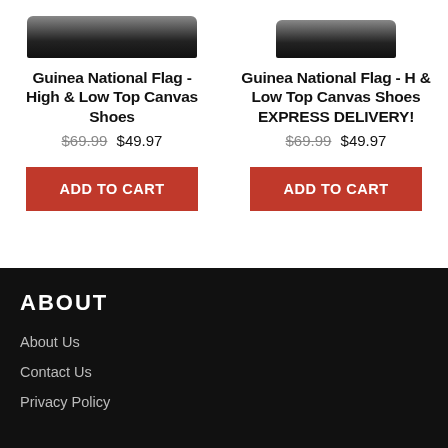[Figure (photo): Partial view of Guinea National Flag canvas shoes, left product]
Guinea National Flag - High & Low Top Canvas Shoes
$69.99  $49.97
ADD TO CART
[Figure (photo): Partial view of Guinea National Flag canvas shoes, right product]
Guinea National Flag - H & Low Top Canvas Shoes EXPRESS DELIVERY!
$69.99  $49.97
ADD TO CART
ABOUT
About Us
Contact Us
Privacy Policy